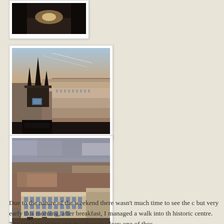[Figure (photo): Partial view of a dark room interior photo, cropped at top of page]
[Figure (photo): Aerial/panoramic view of a European city (likely Vienna) showing Gothic church spires and city rooftops at dusk/dawn, warm sky tones]
[Figure (photo): Aerial/panoramic view of a European city showing urban rooftops and a large neoclassical building under a cloudy sky]
Due to the nature of the weekend there wasn't much time to see the c but very early this morning, after breakfast, I managed a walk into th historic centre. The sun was rising and the sky was clear; one of thos